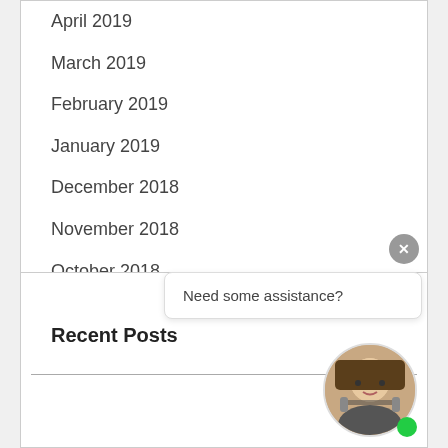April 2019
March 2019
February 2019
January 2019
December 2018
November 2018
October 2018
September 2018
June 2018
Need some assistance?
Recent Posts